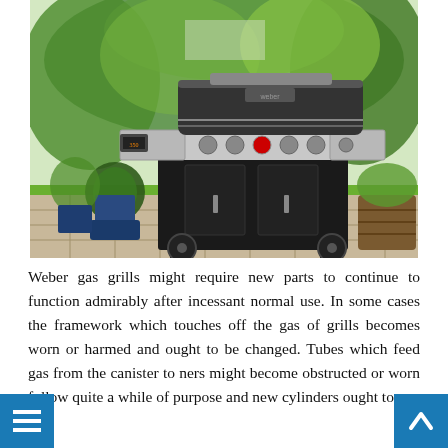[Figure (photo): A Weber gas grill with black cabinet, stainless steel lid open, sitting on a patio with green garden background, potted plants on either side.]
Weber gas grills might require new parts to continue to function admirably after incessant normal use. In some cases the framework which touches off the gas of grills becomes worn or harmed and ought to be changed. Tubes which feed gas from the canister to ners might become obstructed or worn follow quite a while of purpose and new cylinders ought to